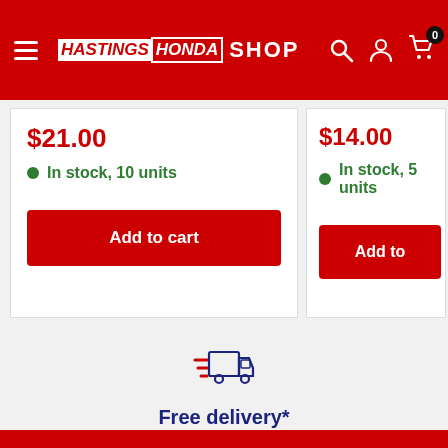HASTINGS HONDA SHOP — navigation header with search, user, and cart icons
$21.00 — In stock, 10 units — Add to cart
$14.00 — In stock, 5 units — Add to
[Figure (illustration): Delivery truck icon with speed lines in red and blue]
Free delivery*
FREE Delivery on orders over $99* excludes bulk items
Carousel dots: 4 dots, first one active